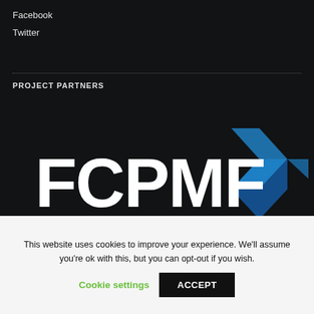Facebook
Twitter
PROJECT PARTNERS
[Figure (logo): FCPMF logo with blue arrow/chevron graphic on dark background]
This website uses cookies to improve your experience. We'll assume you're ok with this, but you can opt-out if you wish.
Cookie settings  ACCEPT